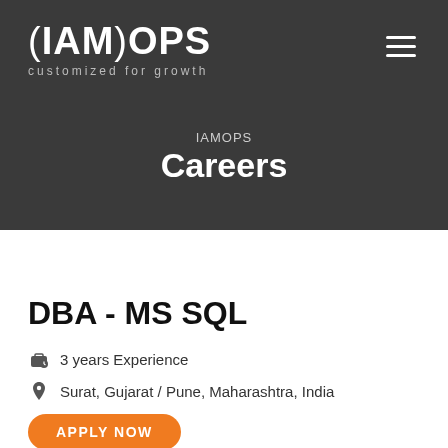[Figure (logo): (IAM)OPS logo with tagline 'customized for growth' on dark background]
IAMOPS
Careers
DBA - MS SQL
3 years Experience
Surat, Gujarat / Pune, Maharashtra, India
APPLY NOW